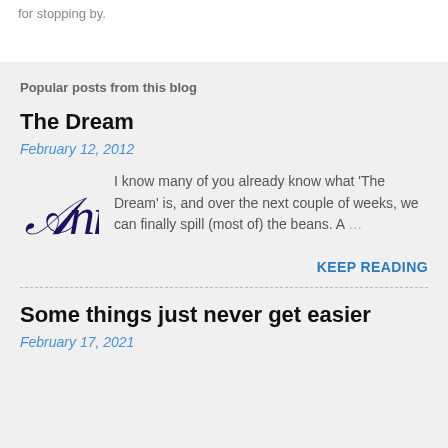for stopping by.
Popular posts from this blog
The Dream
February 12, 2012
[Figure (illustration): Stylized cursive script logo reading 'Anne' in dark navy/purple ink]
I know many of you already know what 'The Dream' is, and over the next couple of weeks, we can finally spill (most of) the beans. A …
KEEP READING
Some things just never get easier
February 17, 2021